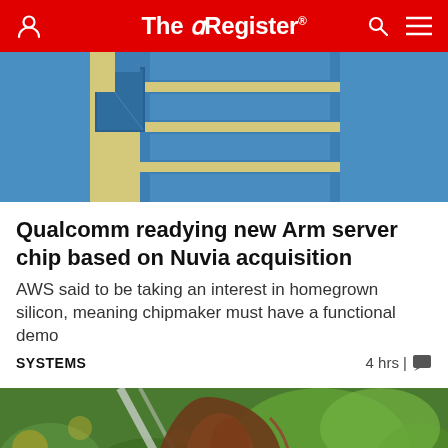The Register
[Figure (photo): Building facade with blue glass and yellow/cream geometric exterior cladding]
Qualcomm readying new Arm server chip based on Nuvia acquisition
AWS said to be taking an interest in homegrown silicon, meaning chipmaker must have a functional demo
SYSTEMS   4 hrs |
[Figure (photo): Close-up of a rusty axe head with green foliage in background]